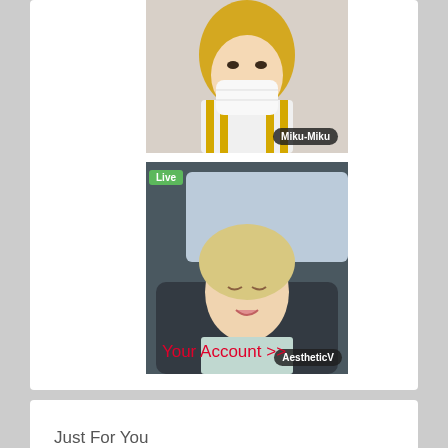[Figure (photo): Screenshot of a social/streaming platform showing two live stream thumbnails. Top: user 'Miku-Miku' wearing a face mask with blonde hair. Bottom: user 'AestheticV' (Live) - blonde woman in a car with eyes closed.]
Your Account >>
Just For You
[Figure (logo): Chaturbate-style logo in orange gradient graffiti font]